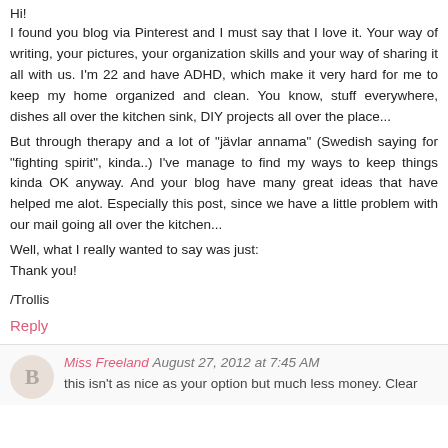Hi!
I found you blog via Pinterest and I must say that I love it. Your way of writing, your pictures, your organization skills and your way of sharing it all with us. I'm 22 and have ADHD, which make it very hard for me to keep my home organized and clean. You know, stuff everywhere, dishes all over the kitchen sink, DIY projects all over the place...
But through therapy and a lot of "jävlar annama" (Swedish saying for "fighting spirit", kinda..) I've manage to find my ways to keep things kinda OK anyway. And your blog have many great ideas that have helped me alot. Especially this post, since we have a little problem with our mail going all over the kitchen...
Well, what I really wanted to say was just:
Thank you!
/Trollis
Reply
Miss Freeland August 27, 2012 at 7:45 AM
this isn't as nice as your option but much less money. Clear